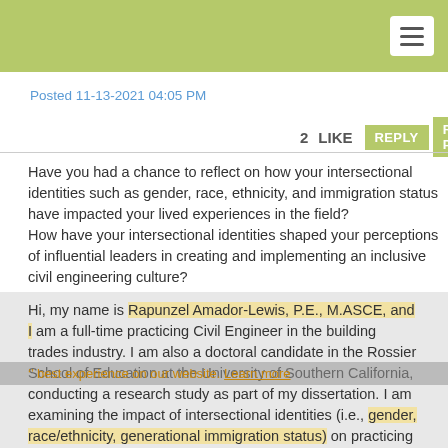Posted 11-13-2021 04:05 PM
2   LIKE   REPLY   REPLY PRIVATELY
Have you had a chance to reflect on how your intersectional identities such as gender, race, ethnicity, and immigration status have impacted your lived experiences in the field?
How have your intersectional identities shaped your perceptions of influential leaders in creating and implementing an inclusive civil engineering culture?
Hi, my name is Rapunzel Amador-Lewis, P.E., M.ASCE, and I am a full-time practicing Civil Engineer in the building trades industry. I am also a doctoral candidate in the Rossier School of Education at the University of Southern California, conducting a research study as part of my dissertation. I am examining the impact of intersectional identities (i.e., gender, race/ethnicity, generational immigration status) on practicing engineers' perceptions of barriers, strategies, and leadership influences in implementing an inclusive engineering
best experience on our website. Learn more